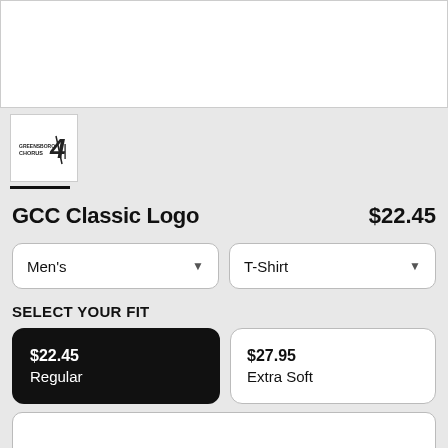[Figure (photo): White product image area at top of page]
[Figure (logo): GCC Chorus logo thumbnail with underline selection indicator]
GCC Classic Logo   $22.45
Men's dropdown, T-Shirt dropdown
SELECT YOUR FIT
$22.45 Regular (selected, black background)
$27.95 Extra Soft